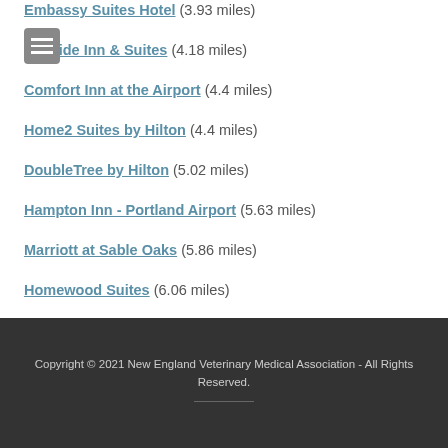Embassy Suites Hotel (3.93 miles)
Fireside Inn & Suites (4.18 miles)
Comfort Inn at the Airport (4.4 miles)
Home2 Suites by Hilton (4.4 miles)
DoubleTree by Hilton (5.02 miles)
Hampton Inn - Portland Airport (5.63 miles)
Marriott at Sable Oaks (5.86 miles)
Homewood Suites (6.06 miles)
Courtyard Portland Airport (6.16 miles)
Holiday Inn Express (6.5 miles)
Copyright © 2021 New England Veterinary Medical Association - All Rights Reserved.